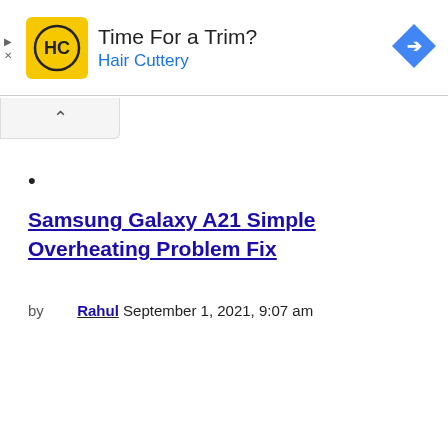[Figure (other): Hair Cuttery advertisement banner with yellow logo showing HC initials, text 'Time For a Trim?' and 'Hair Cuttery' in blue, navigation icon on right, play and X controls on left]
•
Samsung Galaxy A21 Simple Overheating Problem Fix
by  Rahul  September 1, 2021, 9:07 am